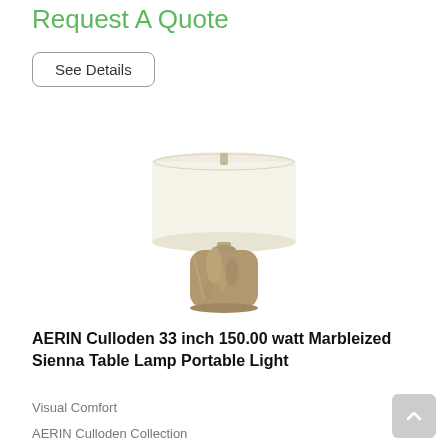Request A Quote
See Details
[Figure (photo): AERIN Culloden table lamp with a large off-white cylindrical drum shade and a marbleized sienna ceramic base]
AERIN Culloden 33 inch 150.00 watt Marbleized Sienna Table Lamp Portable Light
Visual Comfort
AERIN Culloden Collection